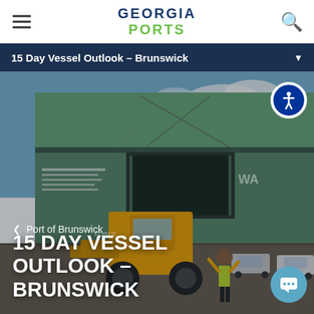GEORGIA PORTS
15 Day Vessel Outlook – Brunswick
[Figure (photo): Port of Brunswick scene showing a large green cargo/RoRo vessel with a yellow front-end loader driving toward it on the dock. A worker in a high-visibility vest directs traffic. Several cars are visible in the background.]
Port of Brunswick
15 DAY VESSEL OUTLOOK – BRUNSWICK